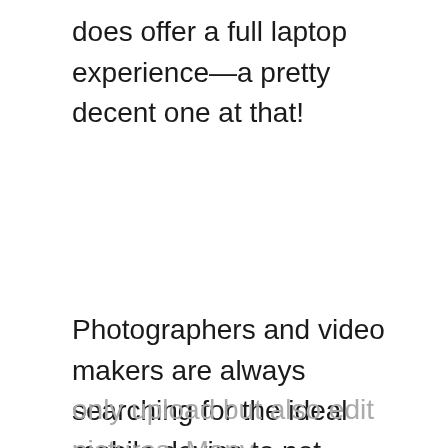does offer a full laptop experience—a pretty decent one at that!
Photographers and video makers are always searching for the ideal mobile device to not only upload but also edit pictures. Many considerations, including size (wall and